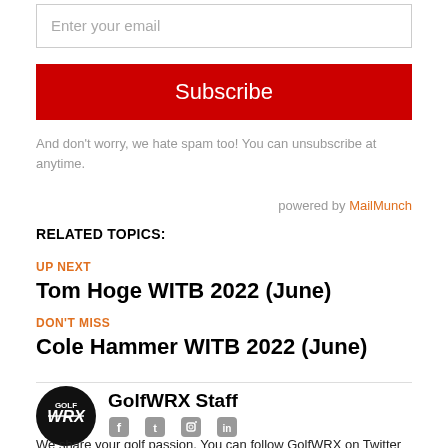Enter your email
Subscribe
And don't worry, we hate spam too! You can unsubscribe at anytime.
powered by MailMunch
RELATED TOPICS:
UP NEXT
Tom Hoge WITB 2022 (June)
DON'T MISS
Cole Hammer WITB 2022 (June)
GolfWRX Staff
We share your golf passion. You can follow GolfWRX on Twitter